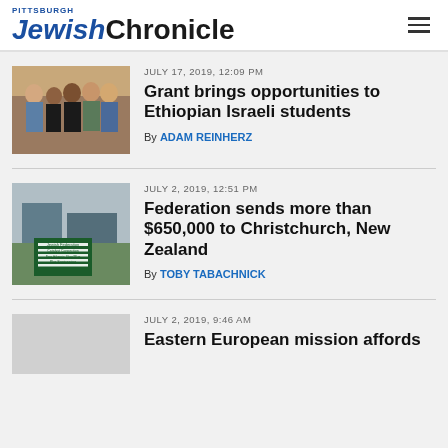Pittsburgh Jewish Chronicle
JULY 17, 2019, 12:09 PM
Grant brings opportunities to Ethiopian Israeli students
By ADAM REINHERZ
JULY 2, 2019, 12:51 PM
Federation sends more than $650,000 to Christchurch, New Zealand
By TOBY TABACHNICK
JULY 2, 2019, 9:46 AM
Eastern European mission affords